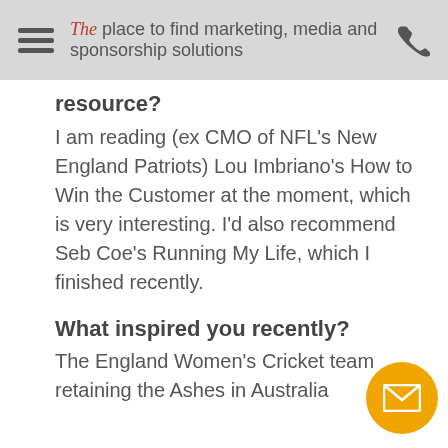The place to find marketing, media and sponsorship solutions
resource?
I am reading (ex CMO of NFL's New England Patriots) Lou Imbriano's How to Win the Customer at the moment, which is very interesting. I'd also recommend Seb Coe's Running My Life, which I finished recently.
What inspired you recently?
The England Women's Cricket team retaining the Ashes in Australia